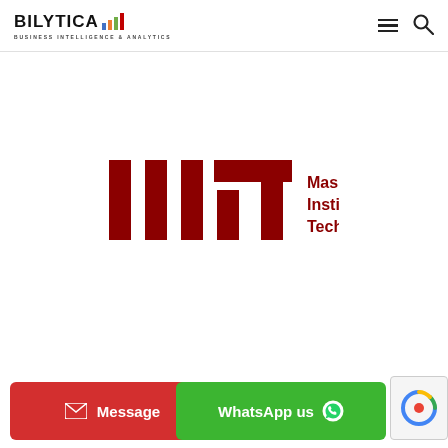[Figure (logo): Bilytica Business Intelligence & Analytics logo with colored bar chart icon]
[Figure (logo): MIT Massachusetts Institute of Technology logo in red]
[Figure (logo): reCAPTCHA badge]
Message
WhatsApp us